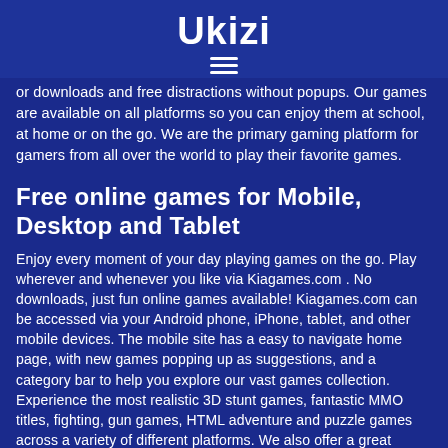Ukizi
or downloads and free distractions without popups. Our games are available on all platforms so you can enjoy them at school, at home or on the go. We are the primary gaming platform for gamers from all over the world to play their favorite games.
Free online games for Mobile, Desktop and Tablet
Enjoy every moment of your day playing games on the go. Play wherever and whenever you like via Kiagames.com . No downloads, just fun online games available! Kiagames.com can be accessed via your Android phone, iPhone, tablet, and other mobile devices. The mobile site has a easy to navigate home page, with new games popping up as suggestions, and a category bar to help you explore our vast games collection. Experience the most realistic 3D stunt games, fantastic MMO titles, fighting, gun games, HTML adventure and puzzle games across a variety of different platforms. We also offer a great selection of online games for kids, including typing and math games. Parents will find our mobile portal just as safe, secure, and child-friendly as our main Kiagames.com